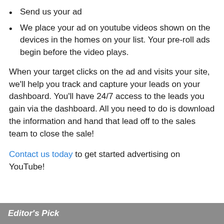Send us your ad
We place your ad on youtube videos shown on the devices in the homes on your list. Your pre-roll ads begin before the video plays.
When your target clicks on the ad and visits your site, we'll help you track and capture your leads on your dashboard. You'll have 24/7 access to the leads you gain via the dashboard. All you need to do is download the information and hand that lead off to the sales team to close the sale!
Contact us today to get started advertising on YouTube!
Editor's Pick